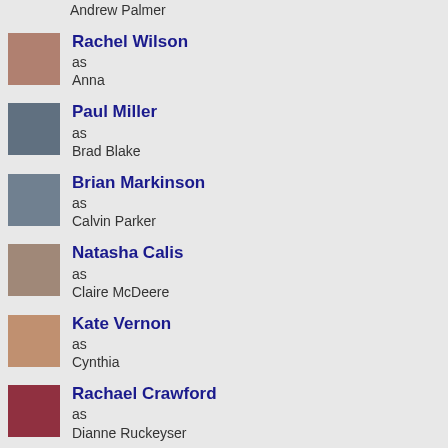Andrew Palmer
Rachel Wilson as Anna
Paul Miller as Brad Blake
Brian Markinson as Calvin Parker
Natasha Calis as Claire McDeere
Kate Vernon as Cynthia
Rachael Crawford as Dianne Ruckeyser
Jeff Kassel